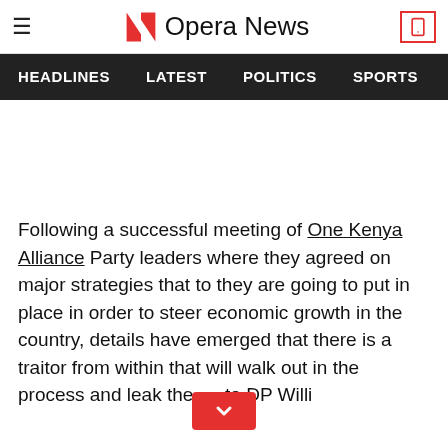Opera News
HEADLINES  LATEST  POLITICS  SPORTS
[Figure (other): Advertisement space (blank white area)]
Following a successful meeting of One Kenya Alliance Party leaders where they agreed on major strategies that to they are going to put in place in order to steer economic growth in the country, details have emerged that there is a traitor from within that will walk out in the process and leak the... to DP William...